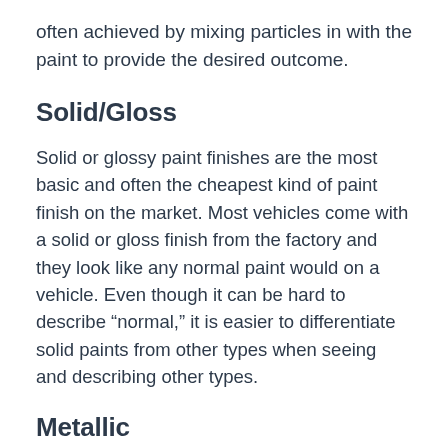often achieved by mixing particles in with the paint to provide the desired outcome.
Solid/Gloss
Solid or glossy paint finishes are the most basic and often the cheapest kind of paint finish on the market. Most vehicles come with a solid or gloss finish from the factory and they look like any normal paint would on a vehicle. Even though it can be hard to describe “normal,” it is easier to differentiate solid paints from other types when seeing and describing other types.
Metallic